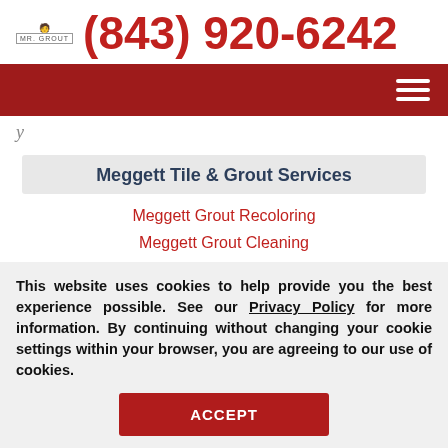(843) 920-6242
Meggett Tile & Grout Services
Meggett Grout Recoloring
Meggett Grout Cleaning
Meggett Grout Sealing
Meggett Tile Cleaning
This website uses cookies to help provide you the best experience possible. See our Privacy Policy for more information. By continuing without changing your cookie settings within your browser, you are agreeing to our use of cookies.
ACCEPT